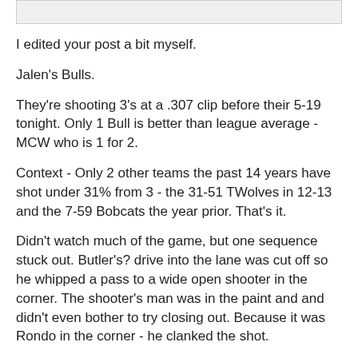I edited your post a bit myself.
Jalen's Bulls.
They're shooting 3's at a .307 clip before their 5-19 tonight. Only 1 Bull is better than league average - MCW who is 1 for 2.
Context - Only 2 other teams the past 14 years have shot under 31% from 3 - the 31-51 TWolves in 12-13 and the 7-59 Bobcats the year prior. That's it.
Didn't watch much of the game, but one sequence stuck out. Butler's? drive into the lane was cut off so he whipped a pass to a wide open shooter in the corner. The shooter's man was in the paint and and didn't even bother to try closing out. Because it was Rondo in the corner - he clanked the shot.
You're right that Hoiberg will probably take the fall, but it was Forman/Paxson who deserve at least equal blame.
If we knew half as much about coaching an NBA team as